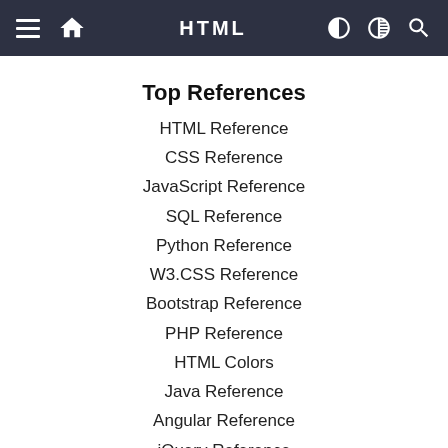HTML
Top References
HTML Reference
CSS Reference
JavaScript Reference
SQL Reference
Python Reference
W3.CSS Reference
Bootstrap Reference
PHP Reference
HTML Colors
Java Reference
Angular Reference
jQuery Reference
Top Examples
HTML Examples
CSS Examples
JavaScript Examples
How To Examples
SQL Examples
Python Examples